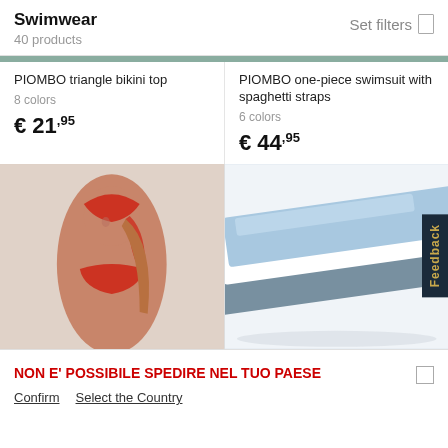Swimwear
40 products
Set filters
PIOMBO triangle bikini top
8 colors
€ 21,95
PIOMBO one-piece swimsuit with spaghetti straps
6 colors
€ 44,95
[Figure (photo): Woman wearing a red halter bikini top with red head scarf, on light grey background]
[Figure (photo): Folded striped fabric/towel in light blue, white, and grey stripes on white background]
NON E' POSSIBILE SPEDIRE NEL TUO PAESE
Confirm    Select the Country